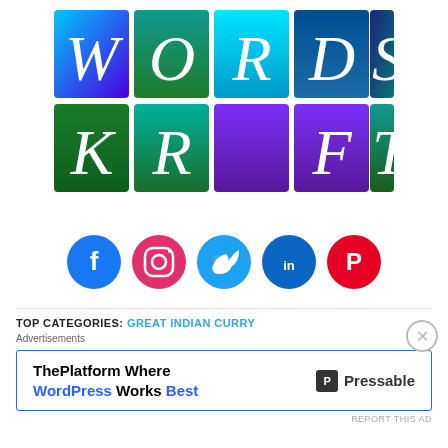[Figure (logo): WordsKraft logo made of colorful letter tiles arranged in a grid: W(cyan-blue gradient), O(green), R(cyan), D(blue-teal), S(dark blue to teal); K(green), R(green), A(green), F(purple), T(green)]
[Figure (infographic): Row of 5 social media icon circles: Facebook (blue), Instagram (pink/magenta), Twitter (light blue), LinkedIn (blue), Pinterest (red)]
TOP CATEGORIES: GREAT INDIAN CURRY
Advertisements
ThePlatform Where WordPress Works Best  P Pressable